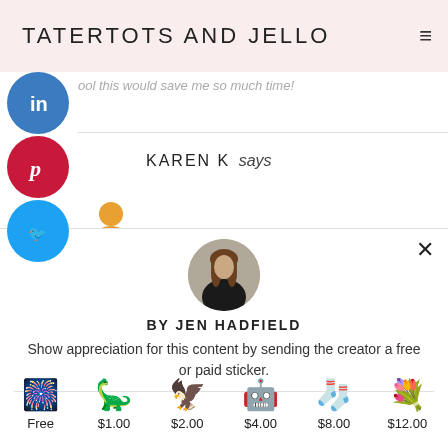TATERTOTS AND JELLO
ool this would save me so much time!
KAREN K says
[Figure (illustration): Circular author avatar photo of Jen Hadfield]
BY JEN HADFIELD
Show appreciation for this content by sending the creator a free or paid sticker.
[Figure (illustration): Row of sticker emoji icons with prices: Free, $1.00, $2.00, $4.00, $8.00, $12.00]